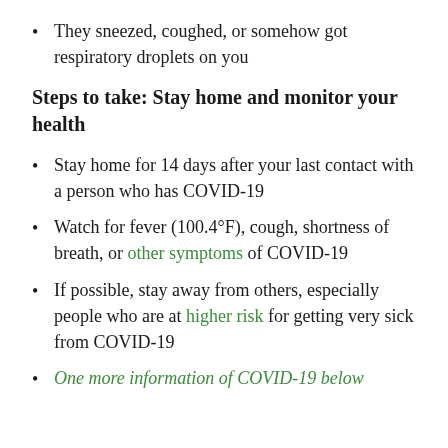They sneezed, coughed, or somehow got respiratory droplets on you
Steps to take: Stay home and monitor your health
Stay home for 14 days after your last contact with a person who has COVID-19
Watch for fever (100.4°F), cough, shortness of breath, or other symptoms of COVID-19
If possible, stay away from others, especially people who are at higher risk for getting very sick from COVID-19
One more item of COVID-19 below (partial)